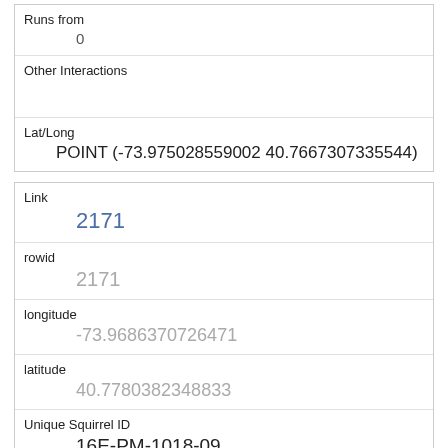| Runs from | 0 |
| Other Interactions |  |
| Lat/Long | POINT (-73.975028559002 40.7667307335544) |
| Link | 2171 |
| rowid | 2171 |
| longitude | -73.9686370726471 |
| latitude | 40.7780382348833 |
| Unique Squirrel ID | 16E-PM-1018-09 |
| Hectare | 16E |
| Shift | PM |